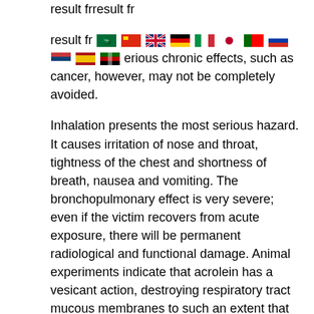result from [flags] erious chronic effects, such as cancer, however, may not be completely avoided.
Inhalation presents the most serious hazard. It causes irritation of nose and throat, tightness of the chest and shortness of breath, nausea and vomiting. The bronchopulmonary effect is very severe; even if the victim recovers from acute exposure, there will be permanent radiological and functional damage. Animal experiments indicate that acrolein has a vesicant action, destroying respiratory tract mucous membranes to such an extent that respiratory function is fully inhibited within 2 to 8 days. Repeated skin contact may cause dermatitis, and skin sensitization has been observed.
The discovery of the mutagenic properties of acrolein is not recent. Rapaport pointed it out as long ago as 1948 in Drosophila. Research has been carried out to establish whether cancer of the lung, whose connection with the abuse of tobacco is unquestionable, can be traced to the presence of